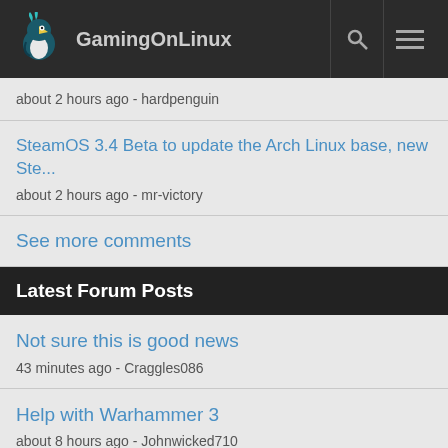GamingOnLinux
about 2 hours ago - hardpenguin
SteamOS 3.4 Beta to update the Arch Linux base, new Ste...
about 2 hours ago - mr-victory
See more comments
Latest Forum Posts
Not sure this is good news
43 minutes ago - Craggles086
Help with Warhammer 3
about 8 hours ago - Johnwicked710
Bomberland (Commodore 64 homebrew)